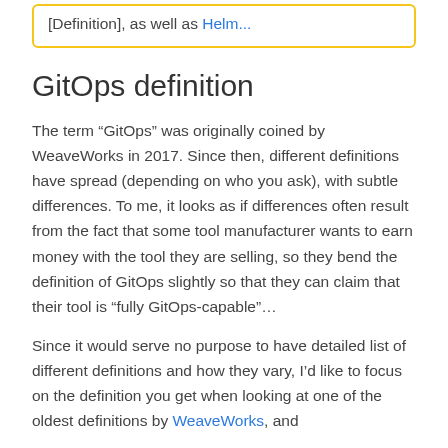[Definition], as well as Helm...
GitOps definition
The term “GitOps” was originally coined by WeaveWorks in 2017. Since then, different definitions have spread (depending on who you ask), with subtle differences. To me, it looks as if differences often result from the fact that some tool manufacturer wants to earn money with the tool they are selling, so they bend the definition of GitOps slightly so that they can claim that their tool is “fully GitOps-capable”…
Since it would serve no purpose to have detailed list of different definitions and how they vary, I’d like to focus on the definition you get when looking at one of the oldest definitions by WeaveWorks, and